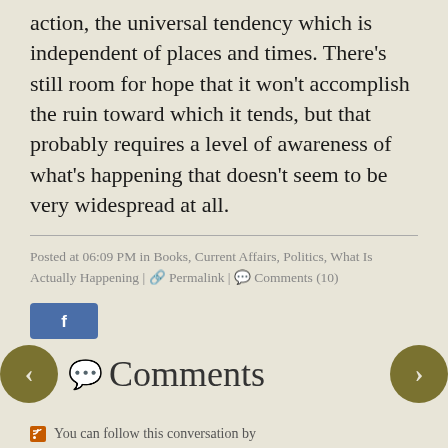action, the universal tendency which is independent of places and times. There's still room for hope that it won't accomplish the ruin toward which it tends, but that probably requires a level of awareness of what's happening that doesn't seem to be very widespread at all.
Posted at 06:09 PM in Books, Current Affairs, Politics, What Is Actually Happening | Permalink | Comments (10)
[Figure (logo): Facebook share button — blue rounded rectangle with white 'f' logo]
Comments
You can follow this conversation by